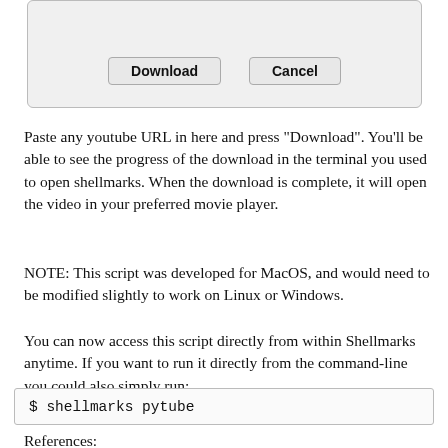[Figure (screenshot): A dialog box showing Download and Cancel buttons on a light gray background with rounded border]
Paste any youtube URL in here and press "Download". You'll be able to see the progress of the download in the terminal you used to open shellmarks. When the download is complete, it will open the video in your preferred movie player.
NOTE: This script was developed for MacOS, and would need to be modified slightly to work on Linux or Windows.
You can now access this script directly from within Shellmarks anytime. If you want to run it directly from the command-line you could also simply run:
$ shellmarks pytube
References: